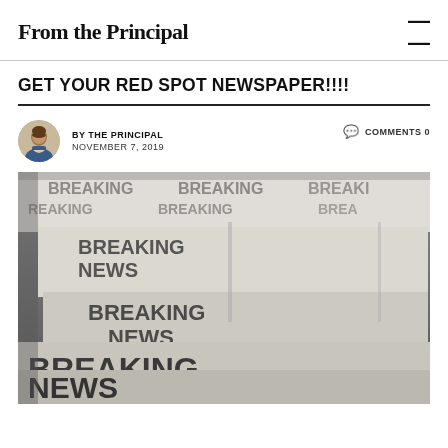From the Principal
GET YOUR RED SPOT NEWSPAPER!!!!
BY THE PRINCIPAL   NOVEMBER 7, 2019   COMMENTS 0
[Figure (photo): Stack of newspapers with large bold 'BREAKING NEWS' text on covers, shown in black and white with perspective angle]